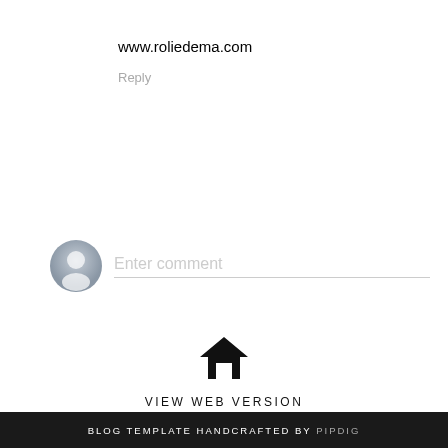www.roliedema.com
Reply
[Figure (other): User avatar placeholder icon (grey silhouette of a person) with Enter comment input field below a horizontal rule]
[Figure (other): Home icon (black house/home symbol)]
VIEW WEB VERSION
© 2022 Almost Chic. | All rights reserved.
BLOG TEMPLATE HANDCRAFTED BY pipdig